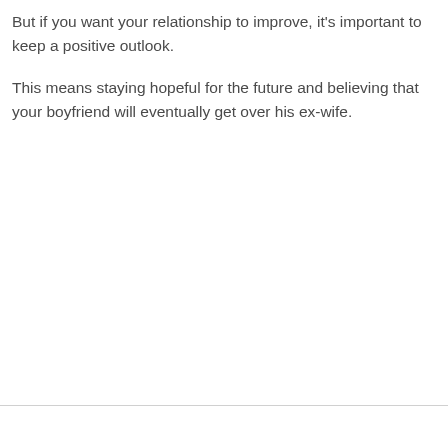But if you want your relationship to improve, it's important to keep a positive outlook.
This means staying hopeful for the future and believing that your boyfriend will eventually get over his ex-wife.